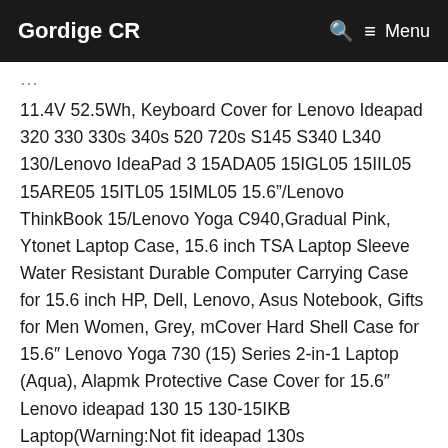Gordige CR  🔍  ≡ Menu
11.4V 52.5Wh, Keyboard Cover for Lenovo Ideapad 320 330 330s 340s 520 720s S145 S340 L340 130/Lenovo IdeaPad 3 15ADA05 15IGL05 15IIL05 15ARE05 15ITL05 15IML05 15.6"/Lenovo ThinkBook 15/Lenovo Yoga C940,Gradual Pink, Ytonet Laptop Case, 15.6 inch TSA Laptop Sleeve Water Resistant Durable Computer Carrying Case for 15.6 inch HP, Dell, Lenovo, Asus Notebook, Gifts for Men Women, Grey, mCover Hard Shell Case for 15.6″ Lenovo Yoga 730 (15) Series 2-in-1 Laptop (Aqua), Alapmk Protective Case Cover for 15.6″ Lenovo ideapad 130 15 130-15IKB Laptop(Warning:Not fit ideapad 130s 14/120s/320/330/330s/530s/520/110/110s Series),Black, Laptop Skin Sticker Decal,12″ 13″